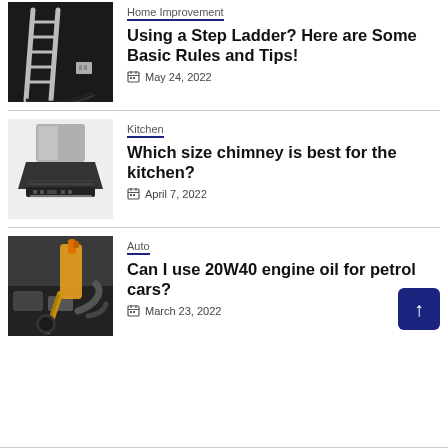Home Improvement
[Figure (photo): Step ladder against a dark wall with an electrical outlet]
Using a Step Ladder? Here are Some Basic Rules and Tips!
May 24, 2022
Kitchen
[Figure (photo): Kitchen range hood / chimney extractor fan]
Which size chimney is best for the kitchen?
April 7, 2022
Auto
[Figure (photo): Orange-handled oil container pouring engine oil]
Can I use 20W40 engine oil for petrol cars?
March 23, 2022